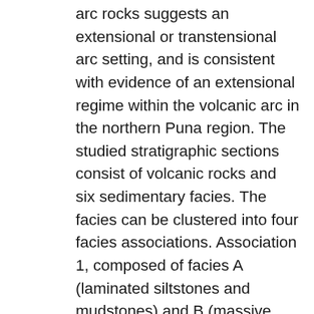arc rocks suggests an extensional or transtensional arc setting, and is consistent with evidence of an extensional regime within the volcanic arc in the northern Puna region. The studied stratigraphic sections consist of volcanic rocks and six sedimentary facies. The facies can be clustered into four facies associations. Association 1, composed of facies A (laminated siltstones and mudstones) and B (massive mudstones and siltstones), is interpreted to have accumulated from silty-muddy high-and low-density turbidity currents and highly fluid, silty debris flows, with subsequent reworking by bottom currents, and to a lesser extent, hemipelagic suspension in an open-slope setting. Facies association 2 is dominated by facies C (current-rippled siltstones) strata. These deposits are interpreted to record